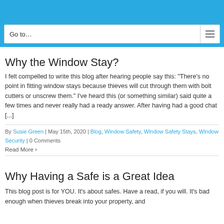Go to...
Why the Window Stay?
I felt compelled to write this blog after hearing people say this: “There’s no point in fitting window stays because thieves will cut through them with bolt cutters or unscrew them.” I’ve heard this (or something similar) said quite a few times and never really had a ready answer.  After having had a good chat [...]
By Susie Green  |  May 15th, 2020  |  Blog, Window Safety, Window Safety Stays, Window Security  |  0 Comments
Read More
Why Having a Safe is a Great Idea
This blog post is for YOU.  It's about safes. Have a read, if you will. It's bad enough when thieves break into your property, and